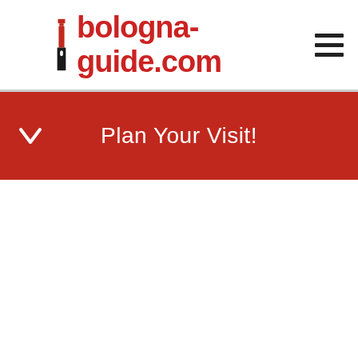bologna-guide.com
Plan Your Visit!